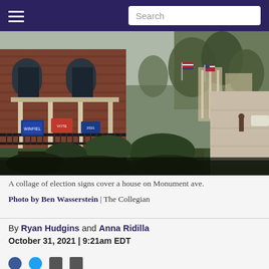Search
[Figure (photo): A row of historic brick houses on Monument Ave with election campaign signs on porch railings, American flags visible in the background, sidewalk running along the right side with trees and parked cars, autumn foliage]
A collage of election signs cover a house on Monument ave.
Photo by Ben Wasserstein | The Collegian
By Ryan Hudgins and Anna Ridilla
October 31, 2021 | 9:21am EDT